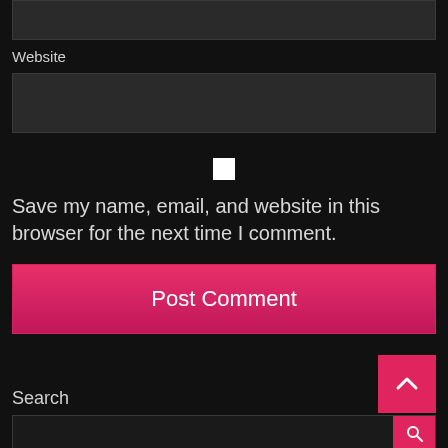[Figure (screenshot): Dark input box at top (partial, cut off)]
Website
[Figure (screenshot): Dark website input text field]
[Figure (screenshot): White checkbox square centered on page]
Save my name, email, and website in this browser for the next time I comment.
[Figure (screenshot): Pink/red Post Comment button]
[Figure (screenshot): Pink scroll-to-top arrow button at bottom right]
Search
[Figure (screenshot): Search bar with pink search button at bottom]